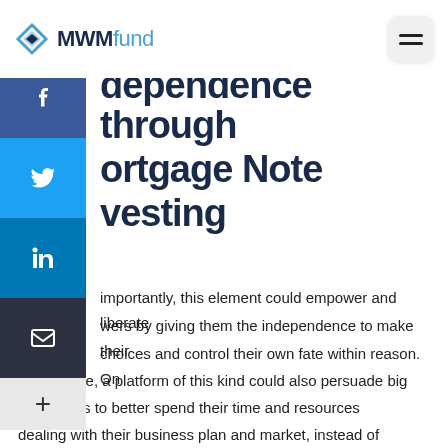MWMfund
Financial Independence through Mortgage Note Investing
importantly, this element could empower and liberate wers by giving them the independence to make their choices and control their own fate within reason. On the flip side, a platform of this kind could also persuade big companies to better spend their time and resources dealing with their business plan and market, instead of